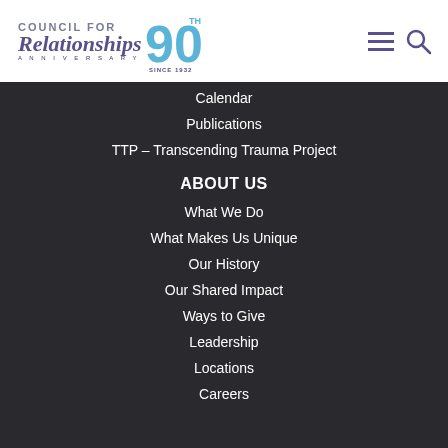[Figure (logo): Council for Relationships 90th Anniversary logo with purple cursive text and blue 90 numeral]
Calendar
Publications
TTP – Transcending Trauma Project
ABOUT US
What We Do
What Makes Us Unique
Our History
Our Shared Impact
Ways to Give
Leadership
Locations
Careers